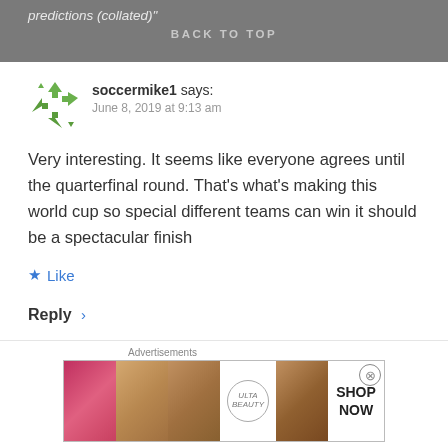predictions (collated)" BACK TO TOP
[Figure (illustration): Green arrow avatar/icon for user soccermike1]
soccermike1 says:
June 8, 2019 at 9:13 am
Very interesting. It seems like everyone agrees until the quarterfinal round. That's what's making this world cup so special different teams can win it should be a spectacular finish
★ Like
Reply ›
Leave a Reply
[Figure (screenshot): Ulta beauty advertisement banner with makeup images and SHOP NOW call to action]